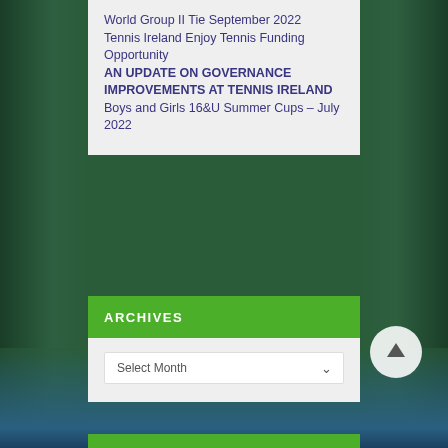World Group II Tie September 2022
Tennis Ireland Enjoy Tennis Funding Opportunity
AN UPDATE ON GOVERNANCE IMPROVEMENTS AT TENNIS IRELAND
Boys and Girls 16&U Summer Cups – July 2022
ARCHIVES
Select Month